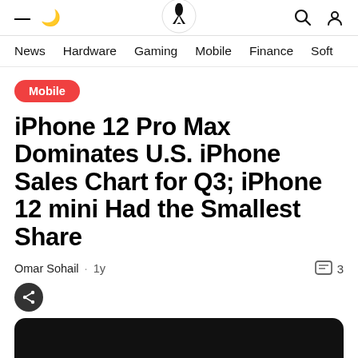≡ ☾ [logo] 🔍 👤
News  Hardware  Gaming  Mobile  Finance  Soft
Mobile
iPhone 12 Pro Max Dominates U.S. iPhone Sales Chart for Q3; iPhone 12 mini Had the Smallest Share
Omar Sohail · 1y   3
[Figure (photo): Black image area at the bottom of the page]